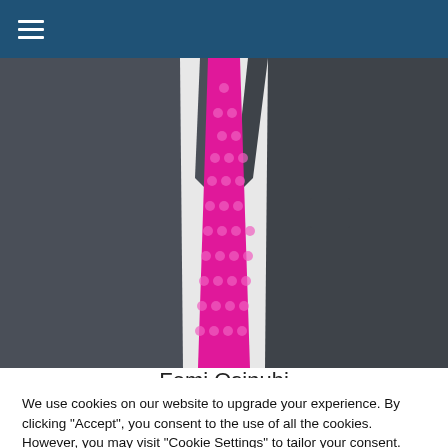≡ (navigation menu)
[Figure (photo): Torso of a person wearing a dark grey suit jacket with a white shirt and a bright pink/magenta polka-dot tie, photographed from the neck down in an outdoor setting.]
Femi Osinubi
We use cookies on our website to upgrade your experience. By clicking "Accept", you consent to the use of all the cookies. However, you may visit "Cookie Settings" to tailor your consent.